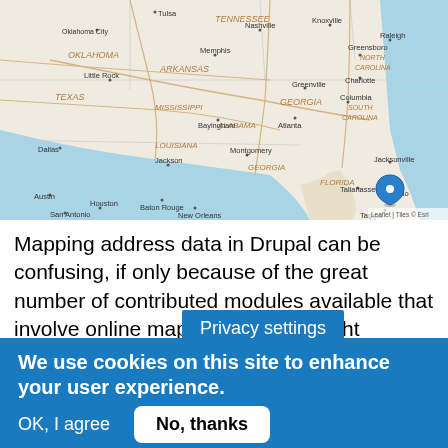[Figure (map): Map showing southeastern United States including states like Texas, Oklahoma, Arkansas, Tennessee, Mississippi, Alabama, Georgia, North Carolina, South Carolina, Florida. A blue location marker pin is placed near Orlando/Tampa, Florida area. Map includes city labels: Tulsa, Nashville, Knoxville, Greensboro, Oklahoma City, Raleigh, Memphis, Charlotte, Little Rock, Greenville, Atlanta, Columbia, Bayingham, Dallas, Jackson, Montgomery, Austin, Baton Rouge, New Orleans, Tallahassee, Jacksonville, Houston, San Antonio, Orlando, Tampa. State labels include TENNESSEE, ARKANSAS, OKLAHOMA, MISSISSIPPI, ALABAMA, GEORGIA, LOUISIANA, TEXAS, NORTH CAROLINA, SOUTH CAROLINA, FLORIDA. Leaflet | Tiles © Esri attribution in bottom right.]
Mapping address data in Drupal can be confusing, if only because of the great number of contributed modules available that involve online maps. Picking the right module (or co ules) is
Privacy settings
We use cookies on this site to enhance your user experience.
By clicking any link on this page you are giving your consent for us to set cookies. More info
OK, I agree
No, thanks